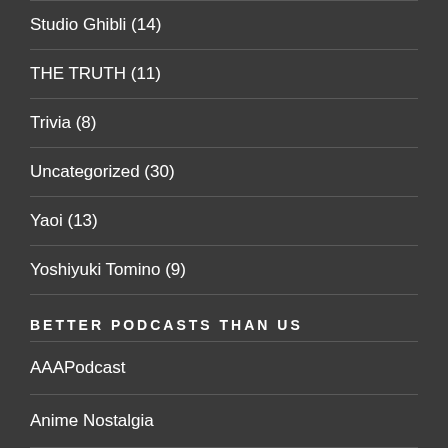Studio Ghibli (14)
THE TRUTH (11)
Trivia (8)
Uncategorized (30)
Yaoi (13)
Yoshiyuki Tomino (9)
BETTER PODCASTS THAN US
AAAPodcast
Anime Nostalgia
Anime Pacific